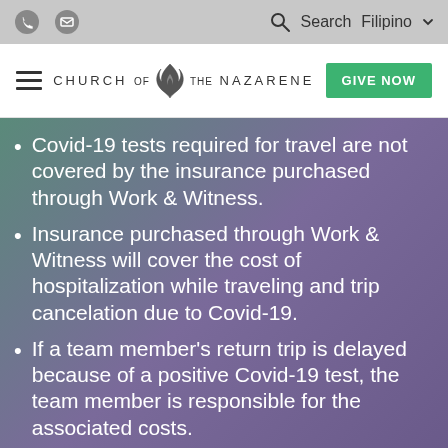Church of the Nazarene – Navigation bar with phone, email icons, search, Filipino language selector, hamburger menu, logo, and GIVE NOW button
Covid-19 tests required for travel are not covered by the insurance purchased through Work & Witness.
Insurance purchased through Work & Witness will cover the cost of hospitalization while traveling and trip cancelation due to Covid-19.
If a team member's return trip is delayed because of a positive Covid-19 test, the team member is responsible for the associated costs.
Please direct further questions